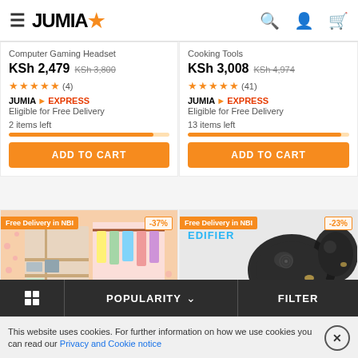JUMIA - navigation header with hamburger menu, logo, search, account, cart icons
Computer Gaming Headset
KSh 2,479  KSh 3,800
★★★★★ (4)
JUMIA EXPRESS - Eligible for Free Delivery
2 items left
ADD TO CART
Cooking Tools
KSh 3,008  KSh 4,974
★★★★★ (41)
JUMIA EXPRESS - Eligible for Free Delivery
13 items left
ADD TO CART
[Figure (photo): Wardrobe organizer with hanging clothes and shelving, with badge: Free Delivery in NBI, -37% discount]
[Figure (photo): Edifier wireless earbuds in black, with badge: Free Delivery in NBI, -23% discount]
POPULARITY ∨  FILTER
This website uses cookies. For further information on how we use cookies you can read our Privacy and Cookie notice